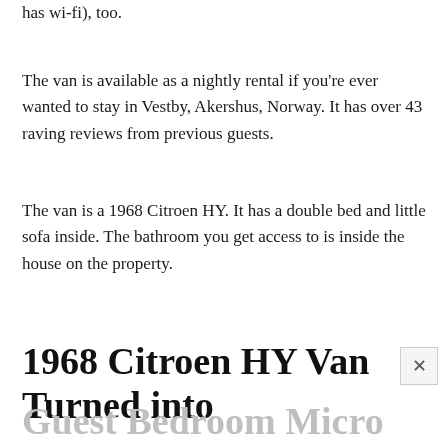has wi-fi), too.
The van is available as a nightly rental if you're ever wanted to stay in Vestby, Akershus, Norway. It has over 43 raving reviews from previous guests.
The van is a 1968 Citroen HY. It has a double bed and little sofa inside. The bathroom you get access to is inside the house on the property.
1968 Citroen HY Van Turned into
Guest Bedroom Micro Cabin